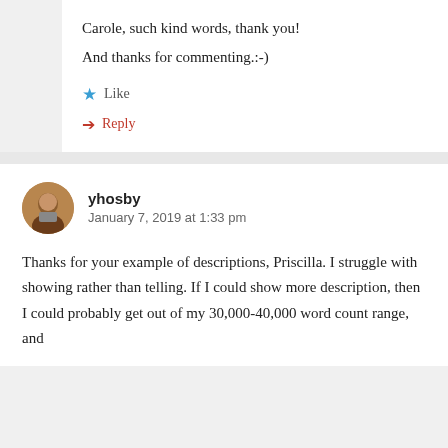Carole, such kind words, thank you! And thanks for commenting.:-)
Like
Reply
yhosby
January 7, 2019 at 1:33 pm
Thanks for your example of descriptions, Priscilla. I struggle with showing rather than telling. If I could show more description, then I could probably get out of my 30,000-40,000 word count range, and